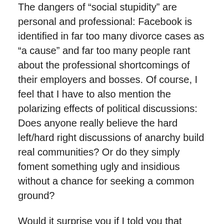The dangers of "social stupidity" are personal and professional: Facebook is identified in far too many divorce cases as "a cause" and far too many people rant about the professional shortcomings of their employers and bosses. Of course, I feel that I have to also mention the polarizing effects of political discussions: Does anyone really believe the hard left/hard right discussions of anarchy build real communities? Or do they simply foment something ugly and insidious without a chance for seeking a common ground?
Would it surprise you if I told you that although some view me as a moderately influential “social recruiter” I have grown weary of the Weight of Facebook? Although I can make any social channel “sing”, I’ve concluded that there are far more effective ways to recruit than with Facebook and there are far better ways to stay in touch with friends